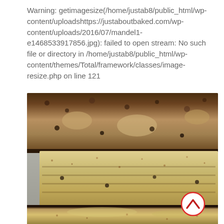Warning: getimagesize(/home/justab8/public_html/wp-content/uploadshttps://justaboutbaked.com/wp-content/uploads/2016/07/mandel1-e1468533917856.jpg): failed to open stream: No such file or directory in /home/justab8/public_html/wp-content/themes/Total/framework/classes/image-resize.php on line 121
[Figure (photo): Close-up photo of stacked mandel bread (Jewish biscotti) cookies coated with cinnamon sugar, showing layered slices with dark chocolate chips and a cinnamon-spiced crumb texture, on a light background. A red-bordered scroll-to-top button with a chevron icon is overlaid in the lower right.]